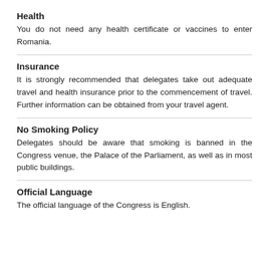Health
You do not need any health certificate or vaccines to enter Romania.
Insurance
It is strongly recommended that delegates take out adequate travel and health insurance prior to the commencement of travel. Further information can be obtained from your travel agent.
No Smoking Policy
Delegates should be aware that smoking is banned in the Congress venue, the Palace of the Parliament, as well as in most public buildings.
Official Language
The official language of the Congress is English.